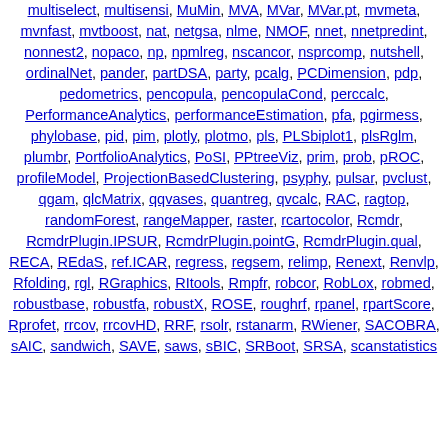multiselect, multisensi, MuMin, MVA, MVar, MVar.pt, mvmeta, mvnfast, mvtboost, nat, netgsa, nlme, NMOF, nnet, nnetpredint, nonnest2, nopaco, np, npmlreg, nscancor, nsprcomp, nutshell, ordinalNet, pander, partDSA, party, pcalg, PCDimension, pdp, pedometrics, pencopula, pencopulaCond, perccalc, PerformanceAnalytics, performanceEstimation, pfa, pgirmess, phylobase, pid, pim, plotly, plotmo, pls, PLSbiplot1, plsRglm, plumbr, PortfolioAnalytics, PoSI, PPtreeViz, prim, prob, pROC, profileModel, ProjectionBasedClustering, psyphy, pulsar, pvclust, qgam, qlcMatrix, qqvases, quantreg, qvcalc, RAC, ragtop, randomForest, rangeMapper, raster, rcartocolor, Rcmdr, RcmdrPlugin.IPSUR, RcmdrPlugin.pointG, RcmdrPlugin.qual, RECA, REdaS, ref.ICAR, regress, regsem, relimp, Renext, Renvlp, Rfolding, rgl, RGraphics, RItools, Rmpfr, robcor, RobLox, robmed, robustbase, robustfa, robustX, ROSE, roughrf, rpanel, rpartScore, Rprofet, rrcov, rrcovHD, RRF, rsolr, rstanarm, RWiener, SACOBRA, sAIC, sandwich, SAVE, saws, sBIC, SRBoot, SRSA, scanstatistics